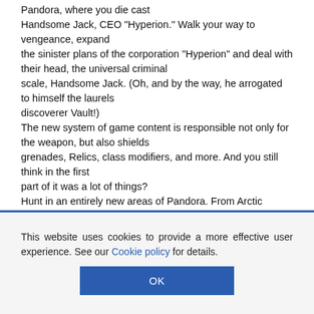Pandora, where you die cast Handsome Jack, CEO "Hyperion." Walk your way to vengeance, expand the sinister plans of the corporation "Hyperion" and deal with their head, the universal criminal scale, Handsome Jack. (Oh, and by the way, he arrogated to himself the laurels discoverer Vault!) The new system of game content is responsible not only for the weapon, but also shields grenades, Relics, class modifiers, and more. And you still think in the first part of it was a lot of things? Hunt in an entirely new areas of Pandora. From Arctic tundra to the full dangers steppes and mysterious caves, the planet will amaze you diverse and unpredictable living world.
This website uses cookies to provide a more effective user experience. See our Cookie policy for details.